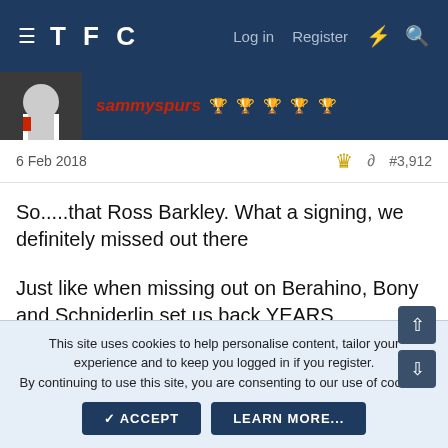TFC   Log in   Register
sammyspurs 🏆🏆🏆🏆🏆
6 Feb 2018   #3,912
So.....that Ross Barkley. What a signing, we definitely missed out there

Just like when missing out on Berahino, Bony and Schniderlin set us back YEARS

LEVY OUT
This site uses cookies to help personalise content, tailor your experience and to keep you logged in if you register.
By continuing to use this site, you are consenting to our use of cookies.
ACCEPT   LEARN MORE...